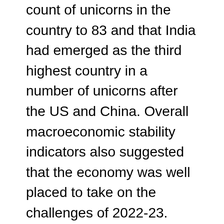count of unicorns in the country to 83 and that India had emerged as the third highest country in a number of unicorns after the US and China. Overall macroeconomic stability indicators also suggested that the economy was well placed to take on the challenges of 2022-23. Union Minister of State (Independent Charge) Science & Technology, Dr. Jitendra Singh said, around 75 start-ups have registered under the space technology category in the Startup India portal.
The Forbes 30under30 list for 2022 was out this week, and of the 30, there were many technopreneurs who made it to the list. These